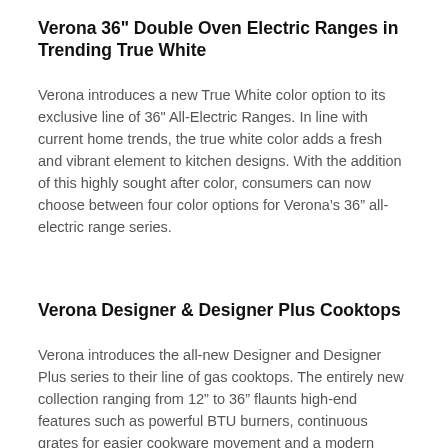Verona 36" Double Oven Electric Ranges in Trending True White
Verona introduces a new True White color option to its exclusive line of 36" All-Electric Ranges. In line with current home trends, the true white color adds a fresh and vibrant element to kitchen designs. With the addition of this highly sought after color, consumers can now choose between four color options for Verona’s 36” all-electric range series.
Verona Designer & Designer Plus Cooktops
Verona introduces the all-new Designer and Designer Plus series to their line of gas cooktops. The entirely new collection ranging from 12” to 36” flaunts high-end features such as powerful BTU burners, continuous grates for easier cookware movement and a modern